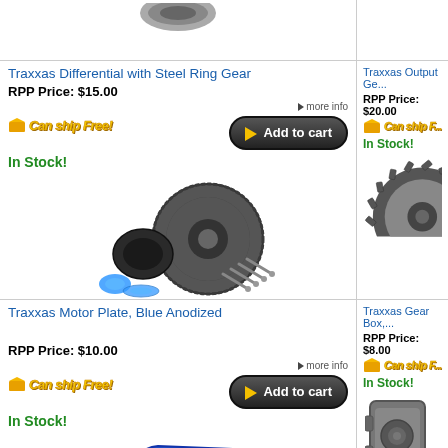[Figure (screenshot): Partial product image at top]
Traxxas Differential with Steel Ring Gear
RPP Price: $15.00
Can ship Free!
In Stock!
[Figure (photo): Traxxas differential gear kit components]
Traxxas Output Ge...
RPP Price: $20.00
Can ship F...
In Stock!
[Figure (photo): Traxxas output gear photo (partial)]
Traxxas Motor Plate, Blue Anodized
RPP Price: $10.00
Can ship Free!
In Stock!
[Figure (photo): Blue anodized motor plate]
Traxxas Gear Box,...
RPP Price: $8.00
Can ship F...
In Stock!
[Figure (photo): Traxxas gear box partial photo]
[Figure (logo): Norton Shopping Guarantee logo with verifying text]
Slash HD Front Suspension Arms,
Traxxas Drag Slas...